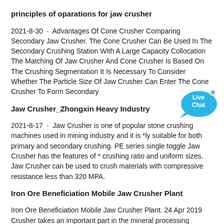principles of oparations for jaw crusher
2021-8-30 · Advantages Of Cone Crusher Comparing Secondary Jaw Crusher. The Cone Crusher Can Be Used In The Secondary Crushing Station With A Large Capacity Collocation The Matching Of Jaw Crusher And Cone Crusher Is Based On The Crushing Segmentation It Is Necessary To Consider Whether The Particle Size Of Jaw Crusher Can Enter The Cone Crusher To Form Secondary
Jaw Crusher_Zhongxin Heavy Industry
2021-8-17 · Jaw Crusher is one of popular stone crushing machines used in mining industry and it is *ly suitable for both primary and secondary crushing. PE series single toggle Jaw Crusher has the features of * crushing ratio and uniform sizes. Jaw Crusher can be used to crush materials with compressive resistance less than 320 MPA.
Iron Ore Beneficiation Mobile Jaw Crusher Plant
Iron Ore Beneficiation Mobile Jaw Crusher Plant. 24 Apr 2019 Crusher takes an important part in the mineral processing machine. Xinhai has provided mineral processing plant services for than 500 mines in the world. the cyclical movement of the mobile jaw that swings around the fixed jaw, Powerscreen: Iron Ore Mining Application - Cone crushers, jaw.